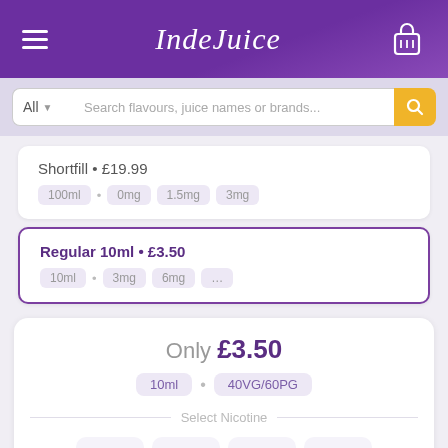[Figure (screenshot): IndeJuice app header with hamburger menu, logo, and cart icon on purple background]
[Figure (screenshot): Search bar with All dropdown and 'Search flavours, juice names or brands...' placeholder and yellow search button]
Shortfill • £19.99
100ml · 0mg · 1.5mg · 3mg
Regular 10ml • £3.50
10ml · 3mg · 6mg · ...
Only £3.50
10ml · 40VG/60PG
Select Nicotine
3mg
6mg
12mg
18mg